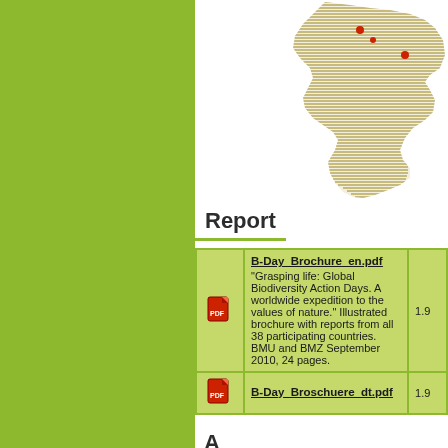[Figure (map): Map of South America with red dots marking locations, rendered in olive/tan horizontal line pattern style]
Report
|  | Title / Description | Size |
| --- | --- | --- |
| [PDF icon] | B-Day_Brochure_en.pdf
"Grasping life: Global Biodiversity Action Days. A worldwide expedition to the values of nature." Illustrated brochure with reports from all 38 participating countries. BMU and BMZ September 2010, 24 pages. | 1.9 |
| [PDF icon] | B-Day_Broschuere_dt.pdf | 1.9 |
A